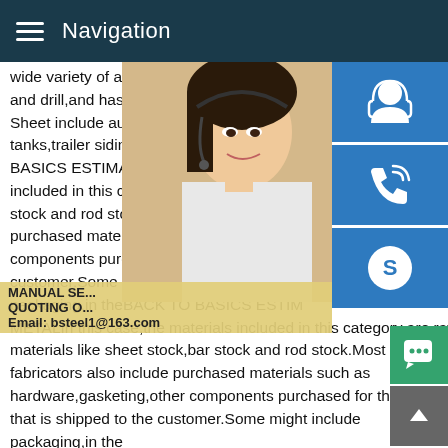Navigation
wide variety of applications.HR Steel Sheet and drill,and has a slight grainy surface.Pc Sheet include automotive panels,tool boxes tanks,trailer siding roofing,etc.Magnetic,Br BASICS ESTIMATING SHEET METALIn t included in this category are raw materials stock and rod stock.Most sheet metal fabr purchased materials such as hardware,ga components purchased for the product tha customer.Some might include packaging,p packaging,in theBACK TO BASICS ESTIM METALIn this case,the materials included in this category are raw materials like sheet stock,bar stock and rod stock.Most sheet metal fabricators also include purchased materials such as hardware,gasketing,other components purchased for the prod that is shipped to the customer.Some might include packaging,in the
[Figure (photo): Woman with headset, customer service representative]
MANUAL SE... QUOTING O... Email: bsteel1@163.com